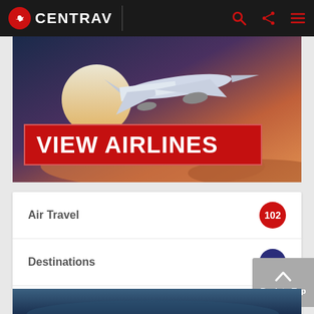CENTRAV
[Figure (photo): Airplane flying above clouds at sunset with red VIEW AIRLINES banner overlay]
VIEW AIRLINES
Air Travel 102
Destinations 73
Resources 126
Running Your Business 89
[Figure (photo): Bottom image strip partially visible]